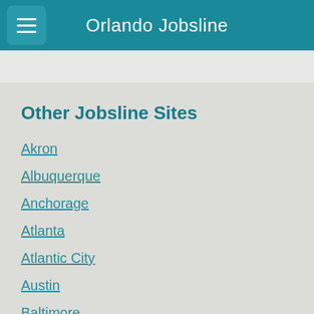Orlando Jobsline
Other Jobsline Sites
Akron
Albuquerque
Anchorage
Atlanta
Atlantic City
Austin
Baltimore
Birmingham